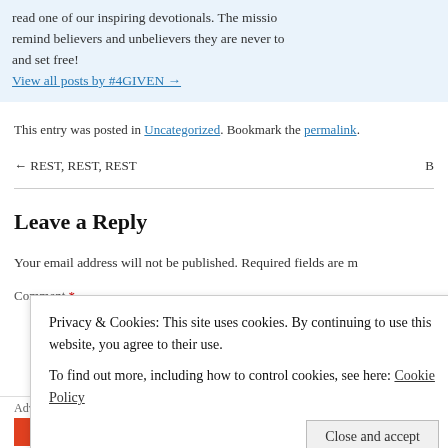read one of our inspiring devotionals. The mission is to remind believers and unbelievers they are never too far gone and set free!
View all posts by #4GIVEN →
This entry was posted in Uncategorized. Bookmark the permalink.
← REST, REST, REST
Leave a Reply
Your email address will not be published. Required fields are m
Comment *
Privacy & Cookies: This site uses cookies. By continuing to use this website, you agree to their use.
To find out more, including how to control cookies, see here: Cookie Policy
Close and accept
Advertisements